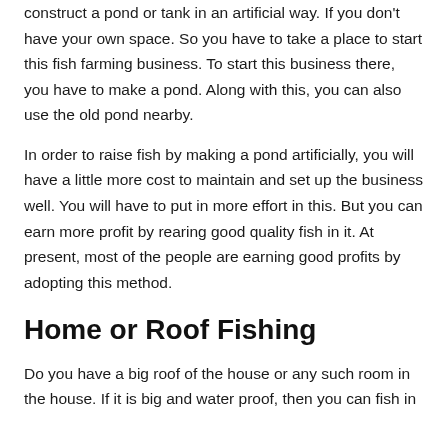construct a pond or tank in an artificial way. If you don't have your own space. So you have to take a place to start this fish farming business. To start this business there, you have to make a pond. Along with this, you can also use the old pond nearby.
In order to raise fish by making a pond artificially, you will have a little more cost to maintain and set up the business well. You will have to put in more effort in this. But you can earn more profit by rearing good quality fish in it. At present, most of the people are earning good profits by adopting this method.
Home or Roof Fishing
Do you have a big roof of the house or any such room in the house. If it is big and water proof, then you can fish in